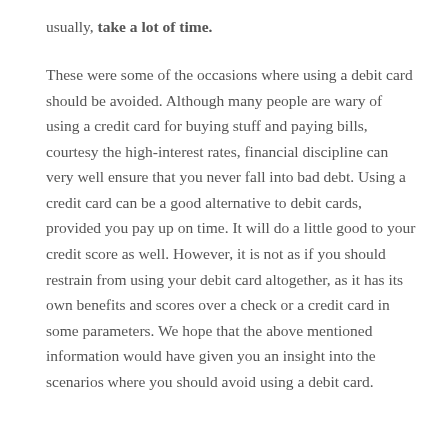usually, take a lot of time.
These were some of the occasions where using a debit card should be avoided. Although many people are wary of using a credit card for buying stuff and paying bills, courtesy the high-interest rates, financial discipline can very well ensure that you never fall into bad debt. Using a credit card can be a good alternative to debit cards, provided you pay up on time. It will do a little good to your credit score as well. However, it is not as if you should restrain from using your debit card altogether, as it has its own benefits and scores over a check or a credit card in some parameters. We hope that the above mentioned information would have given you an insight into the scenarios where you should avoid using a debit card.